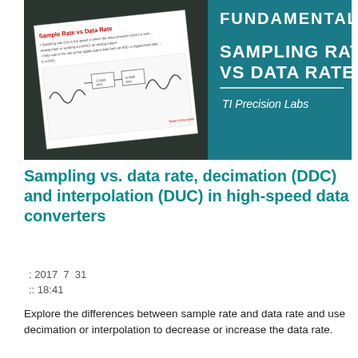[Figure (screenshot): Thumbnail image for TI Precision Labs video about Sampling Rate vs Data Rate. Left side shows a rotated slide card with title 'Sample Rate vs Data Rate' and bullet points, with a circuit/signal diagram. Right side shows teal/dark background with white bold text 'SAMPLING RATE VS DATA RATE' and 'TI Precision Labs' in italic.]
Sampling vs. data rate, decimation (DDC) and interpolation (DUC) in high-speed data converters
: 2017  7  31
:: 18:41
Explore the differences between sample rate and data rate and use decimation or interpolation to decrease or increase the data rate.